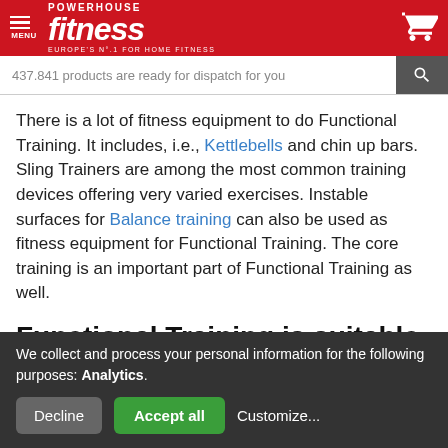[Figure (logo): Powerhouse Fitness logo with red background, menu icon, fitness wordmark in italic white, tagline 'Europe's No.1 for Home Fitness', and shopping cart icon]
437.841 products are ready for dispatch for you
There is a lot of fitness equipment to do Functional Training. It includes, i.e., Kettlebells and chin up bars. Sling Trainers are among the most common training devices offering very varied exercises. Instable surfaces for Balance training can also be used as fitness equipment for Functional Training. The core training is an important part of Functional Training as well.
Functional Training is suitable for
We collect and process your personal information for the following purposes: Analytics.
Decline | Accept all | Customize...